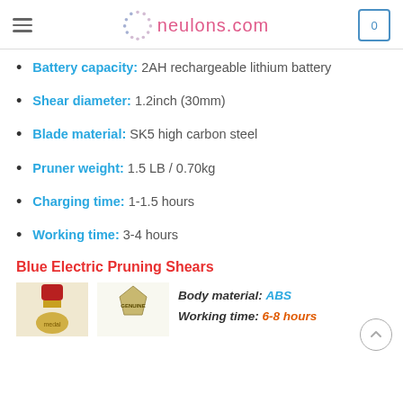neulons.com
Battery capacity: 2AH rechargeable lithium battery
Shear diameter: 1.2inch (30mm)
Blade material: SK5 high carbon steel
Pruner weight: 1.5 LB / 0.70kg
Charging time: 1-1.5 hours
Working time: 3-4 hours
Blue Electric Pruning Shears
Body material: ABS
Working time: 6-8 hours